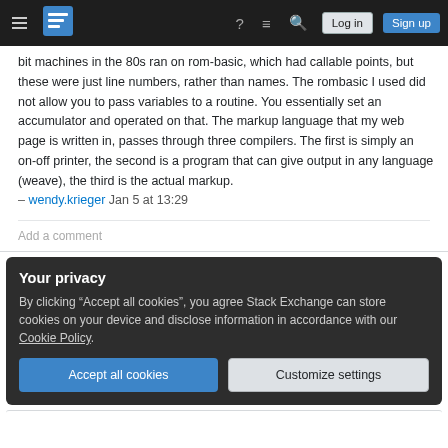Stack Exchange navigation bar with hamburger menu, logo, help, chat, search icons, Log in and Sign up buttons
bit machines in the 80s ran on rom-basic, which had callable points, but these were just line numbers, rather than names. The rombasic I used did not allow you to pass variables to a routine. You essentially set an accumulator and operated on that. The markup language that my web page is written in, passes through three compilers. The first is simply an on-off printer, the second is a program that can give output in any language (weave), the third is the actual markup.
– wendy.krieger Jan 5 at 13:29
Add a comment
Your privacy
By clicking "Accept all cookies", you agree Stack Exchange can store cookies on your device and disclose information in accordance with our Cookie Policy.
Accept all cookies
Customize settings